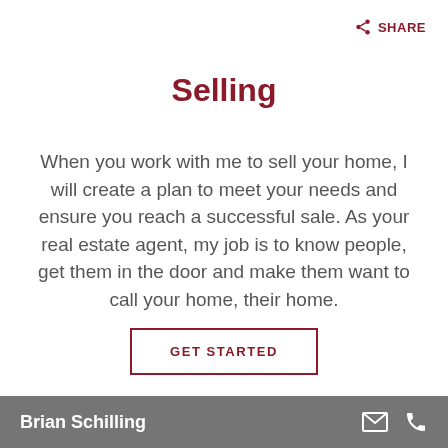SHARE
Selling
When you work with me to sell your home, I will create a plan to meet your needs and ensure you reach a successful sale. As your real estate agent, my job is to know people, get them in the door and make them want to call your home, their home.
GET STARTED
Brian Schilling